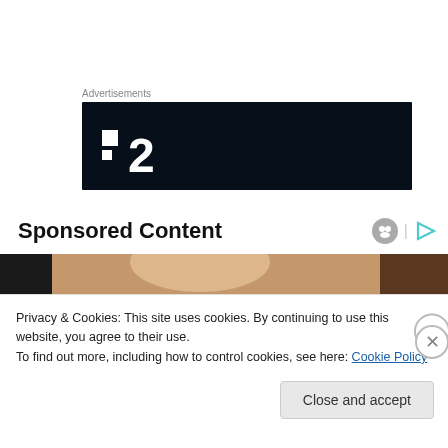Advertisements
[Figure (logo): Dark navy advertisement banner with a logo showing two small white squares and the number 2 in white, resembling the F2 or similar brand logo]
Sponsored Content
[Figure (photo): Partial photo showing a person with blonde/grey hair, cropped at the top]
Privacy & Cookies: This site uses cookies. By continuing to use this website, you agree to their use.
To find out more, including how to control cookies, see here: Cookie Policy
Close and accept